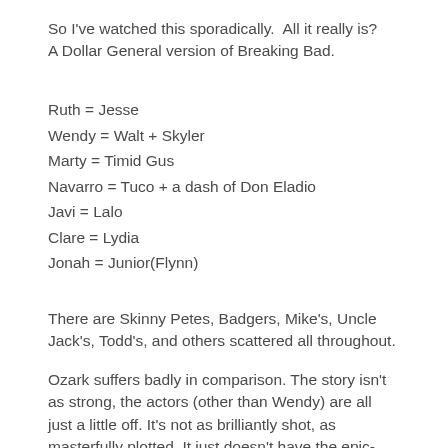So I've watched this sporadically.  All it really is? A Dollar General version of Breaking Bad.
Ruth = Jesse
Wendy = Walt + Skyler
Marty = Timid Gus
Navarro = Tuco + a dash of Don Eladio
Javi = Lalo
Clare = Lydia
Jonah = Junior(Flynn)
There are Skinny Petes, Badgers, Mike's, Uncle Jack's, Todd's, and others scattered all throughout.
Ozark suffers badly in comparison. The story isn't as strong, the actors (other than Wendy) are all just a little off. It's not as brilliantly shot, as masterfully plotted. It just doesn't have the epic-ness of Breaking Bad.
I don't dislike it and I will end up watching it until